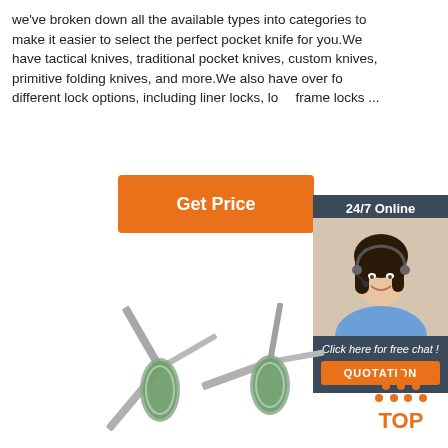we've broken down all the available types into categories to make it easier to select the perfect pocket knife for you.We have tactical knives, traditional pocket knives, custom knives, primitive folding knives, and more.We also have over forty different lock options, including liner locks, lo... frame locks ...
Get Price
[Figure (infographic): 24/7 Online chat widget with a female customer service representative wearing a headset, dark navy background. Footer text: Click here for free chat! with orange QUOTATION button.]
[Figure (photo): Two traditional pocket knives with multiple blades open, decorative abalone/pearl handles, displayed on white background.]
[Figure (infographic): TOP badge with orange dots arranged in an upward-pointing triangle above the word TOP in orange.]